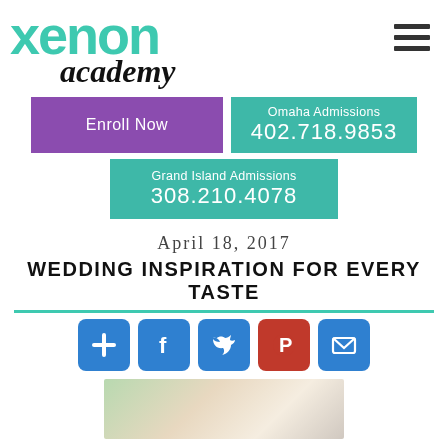[Figure (logo): Xenon Academy logo with teal XENON text and cursive academy below]
[Figure (infographic): Hamburger menu icon with three horizontal dark bars]
Enroll Now
Omaha Admissions
402.718.9853
Grand Island Admissions
308.210.4078
April 18, 2017
WEDDING INSPIRATION FOR EVERY TASTE
[Figure (infographic): Social sharing buttons: plus/add, Facebook, Twitter, Pinterest, Email]
[Figure (photo): Photo of a bride with earrings and veil holding flowers]